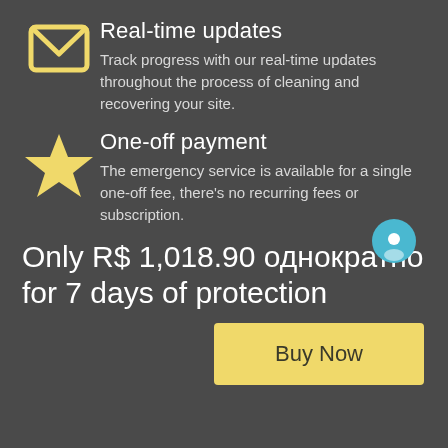Real-time updates
Track progress with our real-time updates throughout the process of cleaning and recovering your site.
One-off payment
The emergency service is available for a single one-off fee, there's no recurring fees or subscription.
Only R$ 1,018.90 однократно for 7 days of protection
Buy Now